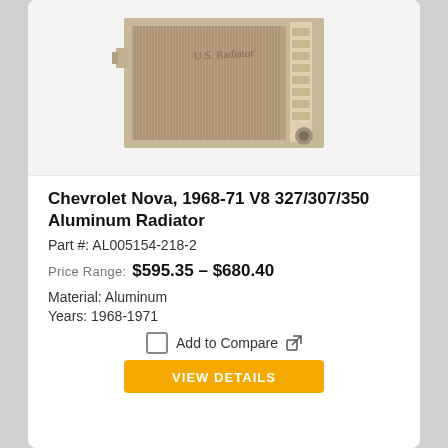[Figure (photo): Aluminum radiator product photo for Chevrolet Nova 1968-71 V8]
Chevrolet Nova, 1968-71 V8 327/307/350 Aluminum Radiator
Part #: AL005154-218-2
Price Range: $595.35 – $680.40
Material: Aluminum
Years: 1968-1971
Add to Compare
VIEW DETAILS